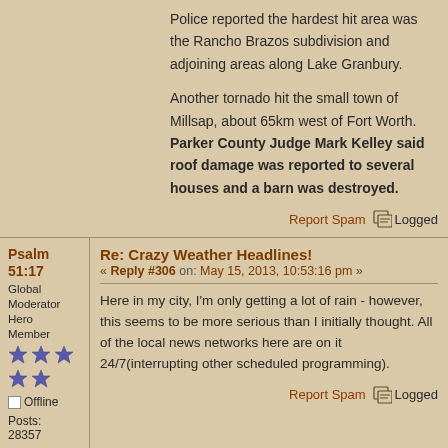Police reported the hardest hit area was the Rancho Brazos subdivision and adjoining areas along Lake Granbury.

Another tornado hit the small town of Millsap, about 65km west of Fort Worth. Parker County Judge Mark Kelley said roof damage was reported to several houses and a barn was destroyed.
Report Spam  Logged
Psalm 51:17
Global Moderator Hero Member
Offline
Posts: 28357
Re: Crazy Weather Headlines!
« Reply #306 on: May 15, 2013, 10:53:16 pm »
Here in my city, I'm only getting a lot of rain - however, this seems to be more serious than I initially thought. All of the local news networks here are on it 24/7(interrupting other scheduled programming).
Report Spam  Logged
Psalm 51:17
Re: Crazy Weather Headlines!
« Reply #307 on: May 16, 2013, 08:10:52 am »
Global